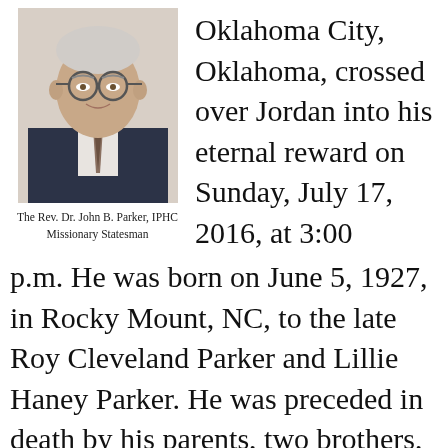[Figure (photo): Portrait photo of an elderly man in a dark suit and tie, wearing glasses, smiling.]
The Rev. Dr. John B. Parker, IPHC Missionary Statesman
Oklahoma City, Oklahoma, crossed over Jordan into his eternal reward on Sunday, July 17, 2016, at 3:00 p.m. He was born on June 5, 1927, in Rocky Mount, NC, to the late Roy Cleveland Parker and Lillie Haney Parker. He was preceded in death by his parents, two brothers, Wiley, and Kenneth, and three sisters, Carlee, Alice, and an unnamed stillborn